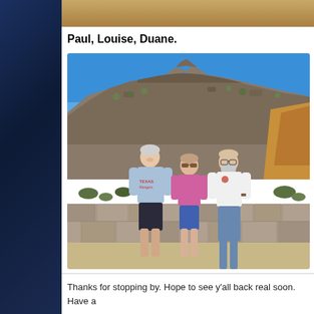[Figure (photo): Partial top edge of a desert landscape photo, cropped at top of page]
Paul, Louise, Duane.
[Figure (photo): Three people standing together outdoors in front of a rocky desert mountain under a bright blue sky. A stone wall is visible in the foreground. The man on the left wears a light blue Texas t-shirt and dark shorts. The woman in the middle wears a pink top and blue shorts with sunglasses. The man on the right wears a white polo shirt and jeans with a beard and glasses.]
Thanks for stopping by. Hope to see y'all back real soon. Have a